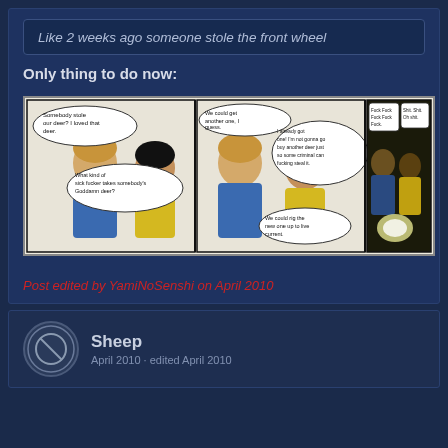Like 2 weeks ago someone stole the front wheel
Only thing to do now:
[Figure (illustration): A three-panel webcomic (Penny Arcade style). Panel 1: Two characters discussing a stolen deer, with speech bubbles 'Somebody stole our deer? I loved that deer.' and 'What kind of sick fucker takes somebody's Goddamn deer?'. Panel 2: Same characters, speech bubbles 'We could get another one, I guess.' and 'I already got one! I'm not gonna go buy another deer just so some criminal can fucking steal it.' and 'We could rig the new one up to live current.' Panel 3: Dark scene with the two characters reacting, speech bubbles 'Fuck Fuck Fuck Fuck Fuck.' and 'Shit. Shit. Oh shit.']
Post edited by YamiNoSenshi on April 2010
Sheep